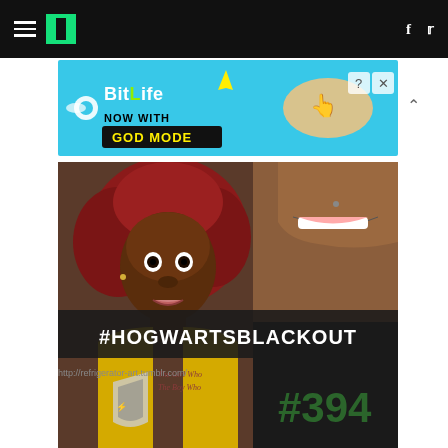HuffPost navigation bar with hamburger menu, logo, Facebook and Twitter icons
[Figure (illustration): BitLife advertisement banner: cyan background with BitLife logo, 'NOW WITH GOD MODE' text in yellow lightning bolt font, pointing hand illustration, question mark and X close button]
[Figure (illustration): Comic-style digital art illustration showing two characters: a Black woman with red afro hair wearing a yellow tank top, and a person in a black shirt with #394 in green text. A dark banner overlay reads '#HOGWARTSBLACKOUT'. Text on shirt reads 'The Girl Who / The Boy Who'. Source: http://refrigerator-art.tumblr.com/]
http://refrigerator-art.tumblr.com/